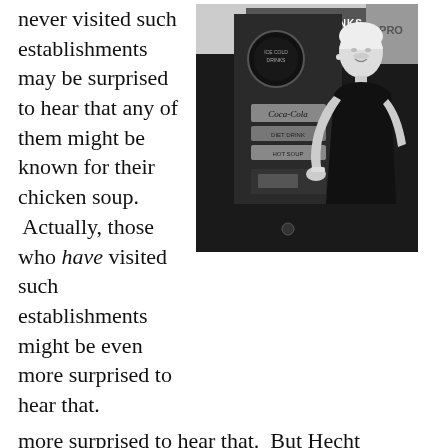never visited such establishments may be surprised to hear that any of them might be known for their chicken soup.  Actually, those who have visited such establishments might be even more surprised to hear that.  But Hecht testified that he frequently stopped in at the Mecca theatre in downtown Tacoma to buy the soup from a vending machine there.  “It’s very good chicken soup,” he testified, under oath.
[Figure (photo): Black and white photograph of a woman in a strapless black dress smiling and using a vending machine. A sign above reads ICE COLD DRINKS. The vending machine has Coca-Cola branding and a SOUP option.]
Hecht admitted that he spent a lot of time in the